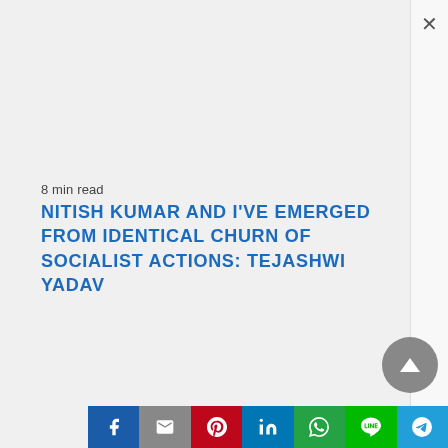8 min read
NITISH KUMAR AND I'VE EMERGED FROM IDENTICAL CHURN OF SOCIALIST ACTIONS: TEJASHWI YADAV